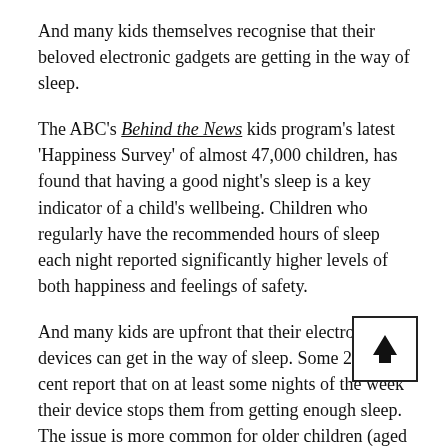And many kids themselves recognise that their beloved electronic gadgets are getting in the way of sleep.
The ABC's Behind the News kids program's latest 'Happiness Survey' of almost 47,000 children, has found that having a good night's sleep is a key indicator of a child's wellbeing. Children who regularly have the recommended hours of sleep each night reported significantly higher levels of both happiness and feelings of safety.
And many kids are upfront that their electronic devices can get in the way of sleep. Some 29 per cent report that on at least some nights of the week their device stops them from getting enough sleep. The issue is more common for older children (aged 12-18) with 37 per cent blaming their devices compared with 27 per cent